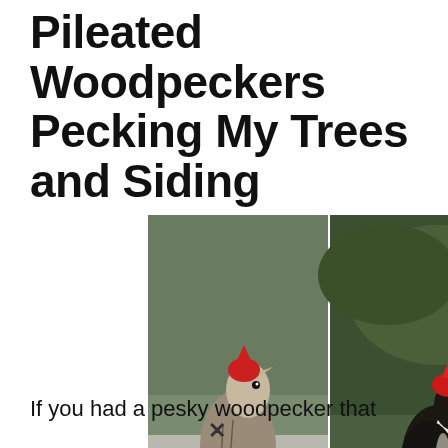Pileated Woodpeckers Pecking My Trees and Siding
[Figure (photo): Two pileated woodpeckers with red crests perched on wooden surfaces. Left bird is lighter gray-brown perched on white painted wood; right bird is darker/black perched on weathered gray wood, both looking upward.]
If you had a pesky woodpecker that